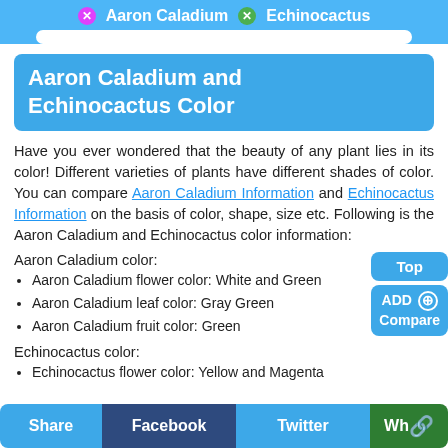X Aaron Caladium   X Echinocactus
Aaron Caladium and Echinocactus Color
Have you ever wondered that the beauty of any plant lies in its color! Different varieties of plants have different shades of color. You can compare Aaron Caladium Information and Echinocactus Information on the basis of color, shape, size etc. Following is the Aaron Caladium and Echinocactus color information:
Aaron Caladium color:
Aaron Caladium flower color: White and Green
Aaron Caladium leaf color: Gray Green
Aaron Caladium fruit color: Green
Echinocactus color:
Echinocactus flower color: Yellow and Magenta
Share   Facebook   Twitter   Wh